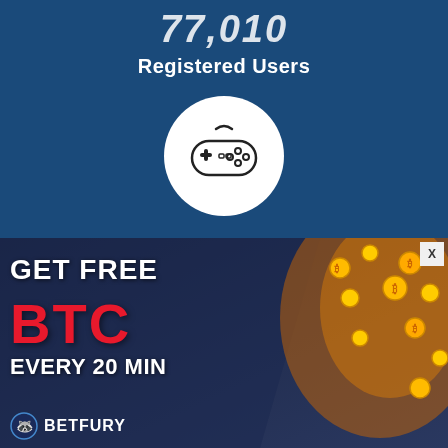Registered Users
[Figure (illustration): Game controller icon in a white circle on dark blue background]
[Figure (infographic): BetFury advertisement banner: GET FREE BTC EVERY 20 MIN with raccoon character and coins, featuring BetFury logo at bottom left and X close button at top right]